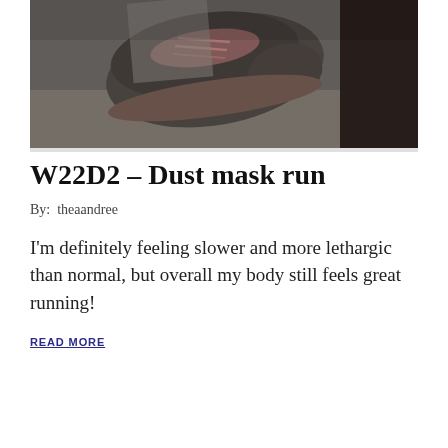[Figure (photo): Close-up photo of a worn running shoe on a carpet/floor surface, dark and slightly blurry image]
W22D2 – Dust mask run
By:  theaandree
I'm definitely feeling slower and more lethargic than normal, but overall my body still feels great running!
READ MORE